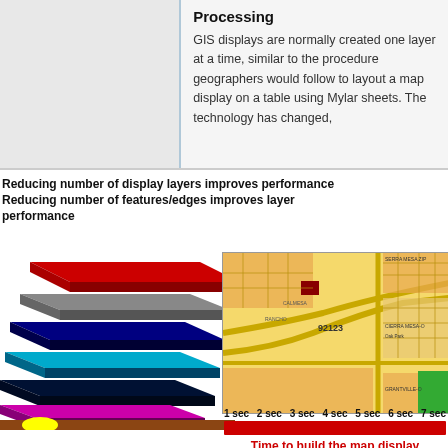Processing
GIS displays are normally created one layer at a time, similar to the procedure geographers would follow to layout a map display on a table using Mylar sheets. The technology has changed,
Reducing number of display layers improves performance
Reducing number of features/edges improves layer performance
[Figure (illustration): Stacked colored layers diagram showing GIS display layers (red, gray, dark blue, cyan, dark navy, black, pink, gray) exploded apart]
[Figure (map): GIS map display showing street/parcel map of area 92123 with colored parcels on yellow background]
[Figure (infographic): Time bar showing 1 sec to 7 sec red progress bar labeled 'Time to build the map display']